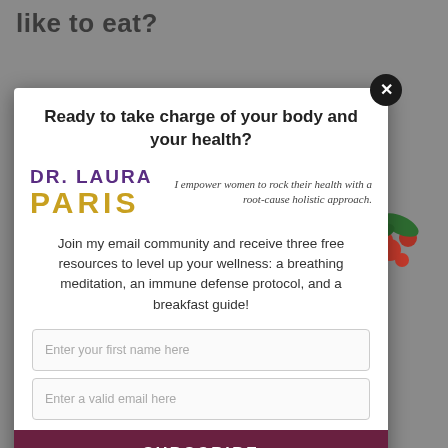like to eat?
[Figure (illustration): Background image with decorative red berries/holly on green stems on a grey background]
Ready to take charge of your body and your health?
[Figure (logo): Dr. Laura Paris logo — DR. LAURA in purple uppercase, PARIS in gold/yellow large uppercase letters]
I empower women to rock their health with a root-cause holistic approach.
Join my email community and receive three free resources to level up your wellness: a breathing meditation, an immune defense protocol, and a breakfast guide!
Enter your first name here
Enter a valid email here
SUBSCRIBE